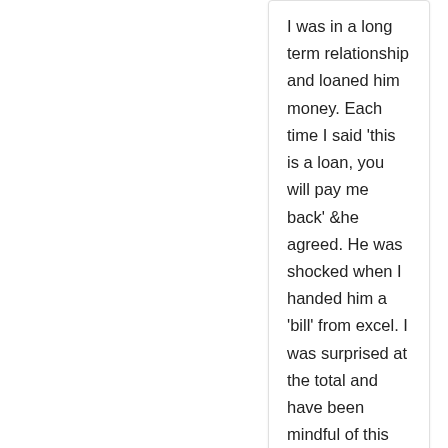I was in a long term relationship and loaned him money. Each time I said 'this is a loan, you will pay me back' &he agreed. He was shocked when I handed him a 'bill' from excel. I was surprised at the total and have been mindful of this ever since.
Reply ↩
[Figure (illustration): Generic grey user avatar silhouette placeholder image]
Troy @ Market History
MAY 6, 2017 AT 2:00 PM
I shouldn't say of friends half